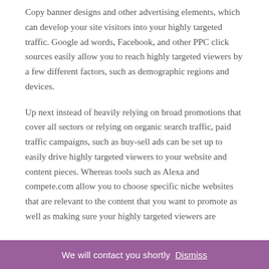Copy banner designs and other advertising elements, which can develop your site visitors into your highly targeted traffic. Google ad words, Facebook, and other PPC click sources easily allow you to reach highly targeted viewers by a few different factors, such as demographic regions and devices.
Up next instead of heavily relying on broad promotions that cover all sectors or relying on organic search traffic, paid traffic campaigns, such as buy-sell ads can be set up to easily drive highly targeted viewers to your website and content pieces. Whereas tools such as Alexa and compete.com allow you to choose specific niche websites that are relevant to the content that you want to promote as well as making sure your highly targeted viewers are
We will contact you shortly Dismiss